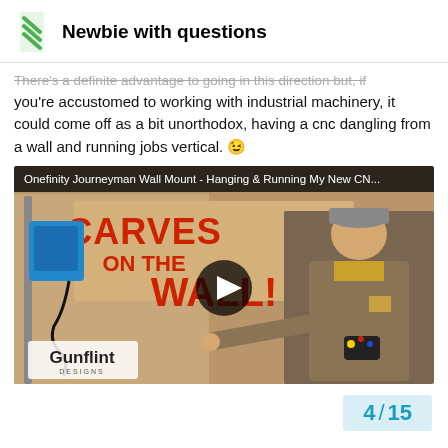Newbie with questions
There's a definite advantage to going in this direction but, if you're accustomed to working with industrial machinery, it could come off as a bit unorthodox, having a cnc dangling from a wall and running jobs vertical. 😉
[Figure (screenshot): YouTube video thumbnail for 'Onefinity Journeyman Wall Mount - Hanging & Running My New CN...' showing a man in a workshop pointing to a CNC machine mounted on a wall, with 'CARVES ON THE WALL!' text on cardboard sign. Gunflint Designs logo visible. Play button overlay in center.]
4 / 15